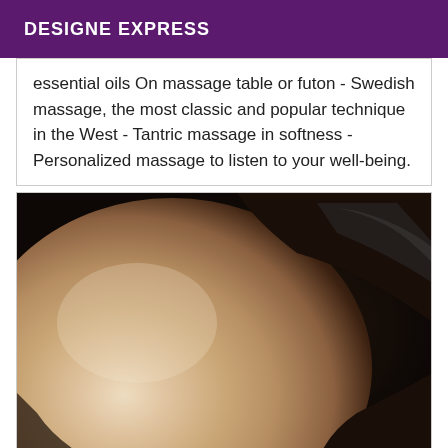DESIGNE EXPRESS
essential oils On massage table or futon - Swedish massage, the most classic and popular technique in the West - Tantric massage in softness - Personalized massage to listen to your well-being.
[Figure (photo): Close-up photo of a person's bare skin, showing a rounded body part against a dark background with fabric.]